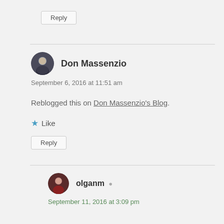Reply
Don Massenzio
September 6, 2016 at 11:51 am
Reblogged this on Don Massenzio’s Blog.
Like
Reply
olganm
September 11, 2016 at 3:09 pm